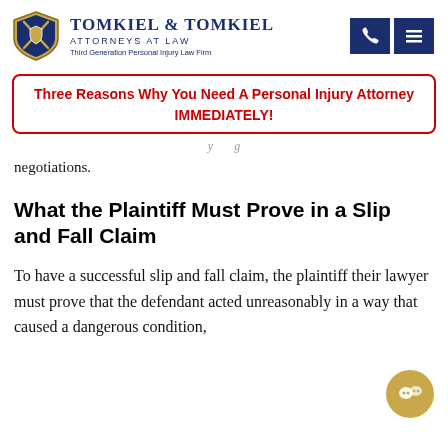Tomkiel & Tomkiel Attorneys At Law — Third Generation Personal Injury Law Firm
Three Reasons Why You Need A Personal Injury Attorney IMMEDIATELY!
negotiations.
What the Plaintiff Must Prove in a Slip and Fall Claim
To have a successful slip and fall claim, the plaintiff and their lawyer must prove that the defendant acted unreasonably in a way that caused a dangerous condition,